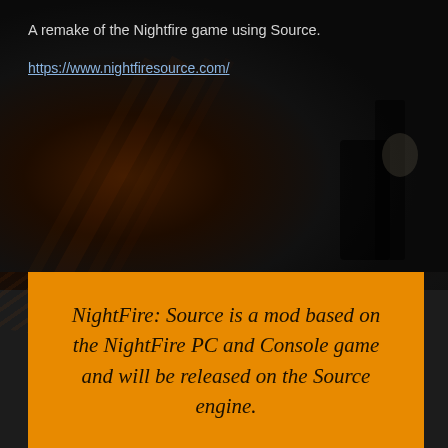A remake of the Nightfire game using Source.
https://www.nightfiresource.com/
[Figure (photo): Dark background image with radial orange/dark lighting effect, suggesting a game environment scene.]
NightFire: Source is a mod based on the NightFire PC and Console game and will be released on the Source engine.
The idea to start working on a new version of NightFire was first found on the NightFire Community Forums. Although it got quite the attention, plans didn't work out and it was soon forgotten. Later in 2013 the development of the mod was mentioned again with bigger success. An informative website was launched and soon followed the forums so players could start connecting and sharing their ideas.